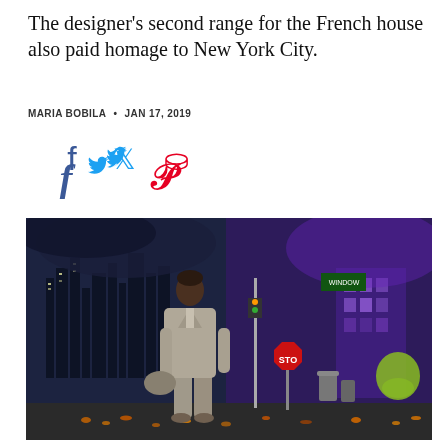The designer's second range for the French house also paid homage to New York City.
MARIA BOBILA • JAN 17, 2019
[Figure (other): Social media share icons: Facebook (blue), Twitter (blue), Pinterest (red)]
[Figure (photo): A male model wearing a light grey oversized suit and carrying a grey bag walks a runway set designed to look like a New York City street at night, with purple-lit buildings, a stop sign, graffiti, and autumn leaves scattered on the ground.]